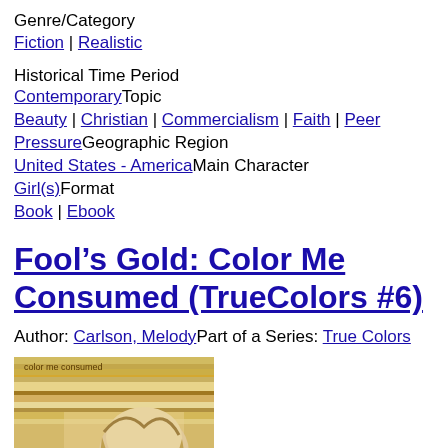Genre/Category
Fiction | Realistic
Historical Time Period
ContemporaryTopic
Beauty | Christian | Commercialism | Faith | Peer PressureGeographic Region
United States - AmericaMain Character
Girl(s)Format
Book | Ebook
Fool’s Gold: Color Me Consumed (TrueColors #6)
Author: Carlson, MelodyPart of a Series: True Colors
[Figure (photo): Book cover of Fool’s Gold: Color Me Consumed showing gold and cream horizontal stripes with a woman’s face visible in the lower portion. Text at top reads 'color me consumed'. Gold and tan striped design.]